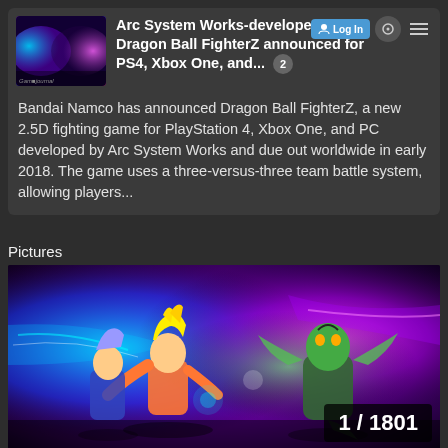Arc System Works-developed Dragon Ball FighterZ announced for PS4, Xbox One, and... 2
Bandai Namco has announced Dragon Ball FighterZ, a new 2.5D fighting game for PlayStation 4, Xbox One, and PC developed by Arc System Works and due out worldwide in early 2018. The game uses a three-versus-three team battle system, allowing players...
Pictures
[Figure (photo): Dragon Ball FighterZ game screenshot showing Super Saiyan characters and Cell fighting with colorful energy effects]
1 / 1801